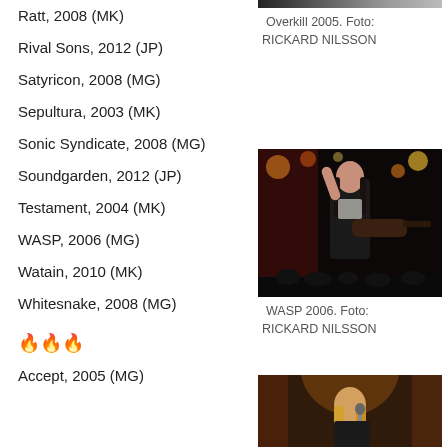[Figure (photo): Overkill 2005 concert photo, top portion visible]
Overkill 2005. Foto: RICKARD NILSSON
Ratt, 2008 (MK)
Rival Sons, 2012 (JP)
Satyricon, 2008 (MG)
Sepultura, 2003 (MK)
Sonic Syndicate, 2008 (MG)
Soundgarden, 2012 (JP)
Testament, 2004 (MK)
WASP, 2006 (MG)
[Figure (photo): WASP 2006 concert photo showing guitarist on stage with lights]
WASP 2006. Foto: RICKARD NILSSON
Watain, 2010 (MK)
Whitesnake, 2008 (MG)
🔥🔥🔥
Accept, 2005 (MG)
[Figure (photo): Concert photo at bottom, performer with long hair]